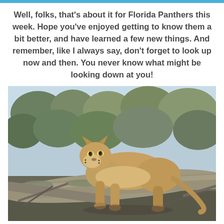Well, folks, that's about it for Florida Panthers this week. Hope you've enjoyed getting to know them a bit better, and have learned a few new things. And remember, like I always say, don't forget to look up now and then. You never know what might be looking down at you!
[Figure (photo): A Florida panther (cougar/puma) perched on a fallen log covered with Spanish moss, in a forested habitat with trees and greenery in the background.]